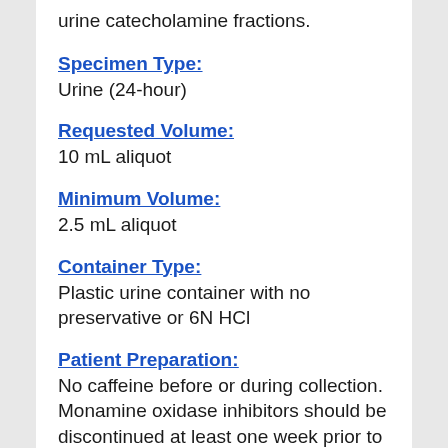urine catecholamine fractions.
Specimen Type:
Urine (24-hour)
Requested Volume:
10 mL aliquot
Minimum Volume:
2.5 mL aliquot
Container Type:
Plastic urine container with no preservative or 6N HCl
Patient Preparation:
No caffeine before or during collection. Monamine oxidase inhibitors should be discontinued at least one week prior to beginning collection